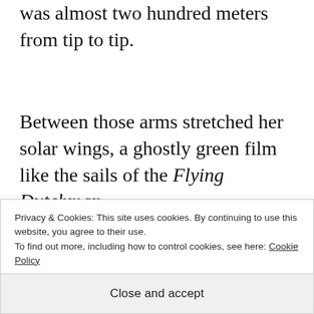was almost two hundred meters from tip to tip.
Between those arms stretched her solar wings, a ghostly green film like the sails of the Flying Dutchman.
“You’ve a matter thing,” he said of the. He had
Privacy & Cookies: This site uses cookies. By continuing to use this website, you agree to their use. To find out more, including how to control cookies, see here: Cookie Policy
Close and accept
Thank you, Captain The ship huma sounded